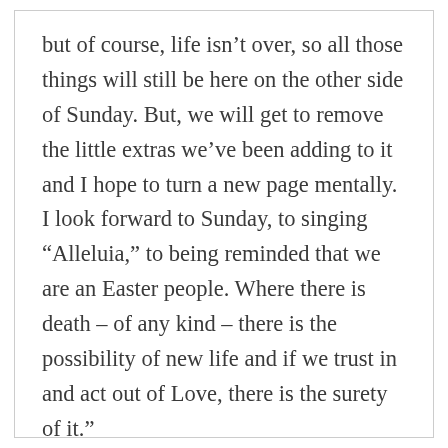but of course, life isn't over, so all those things will still be here on the other side of Sunday. But, we will get to remove the little extras we've been adding to it and I hope to turn a new page mentally. I look forward to Sunday, to singing “Alleluia,” to being reminded that we are an Easter people. Where there is death – of any kind – there is the possibility of new life and if we trust in and act out of Love, there is the surety of it.”